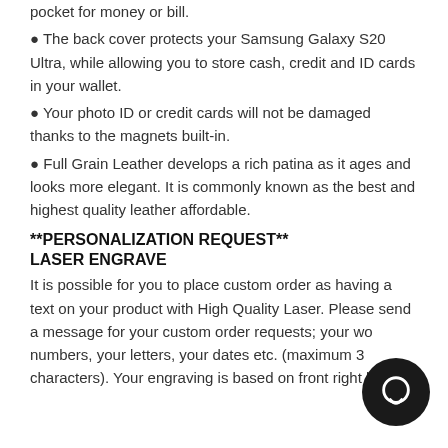pocket for money or bill.
The back cover protects your Samsung Galaxy S20 Ultra, while allowing you to store cash, credit and ID cards in your wallet.
Your photo ID or credit cards will not be damaged thanks to the magnets built-in.
Full Grain Leather develops a rich patina as it ages and looks more elegant. It is commonly known as the best and highest quality leather affordable.
**PERSONALIZATION REQUEST**
LASER ENGRAVE
It is possible for you to place custom order as having a text on your product with High Quality Laser. Please send a message for your custom order requests; your words, numbers, your letters, your dates etc. (maximum 30 characters). Your engraving is based on front right bottom